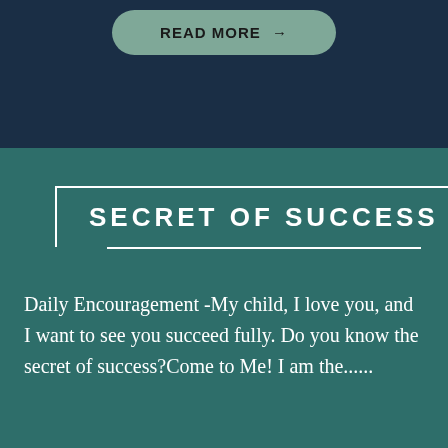[Figure (other): READ MORE button with arrow on dark navy background]
SECRET OF SUCCESS
Daily Encouragement -My child, I love you, and I want to see you succeed fully. Do you know the secret of success?Come to Me! I am the......